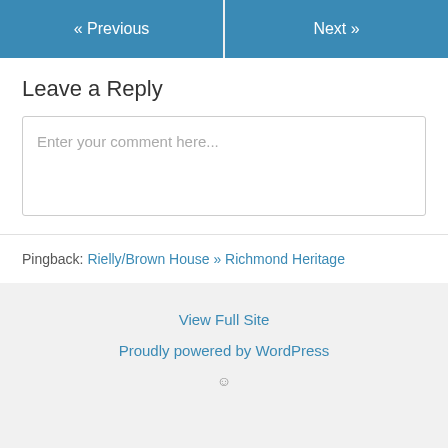« Previous
Next »
Leave a Reply
Enter your comment here...
Pingback: Rielly/Brown House » Richmond Heritage
View Full Site
Proudly powered by WordPress